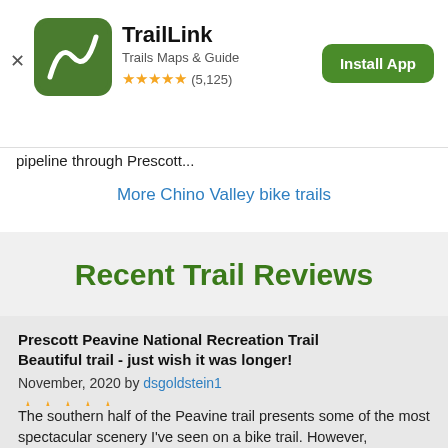[Figure (logo): TrailLink app icon: green rounded square with white winding path logo]
TrailLink
Trails Maps & Guide
★★★★★ (5,125)
Install App
pipeline through Prescott...
More Chino Valley bike trails
Recent Trail Reviews
Prescott Peavine National Recreation Trail
Beautiful trail - just wish it was longer!
November, 2020 by dsgoldstein1
★★★★★
The southern half of the Peavine trail presents some of the most spectacular scenery I've seen on a bike trail. However,